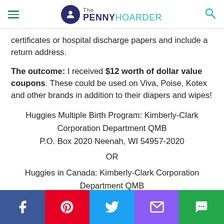The PENNY HOARDER
certificates or hospital discharge papers and include a return address.
The outcome: I received $12 worth of dollar value coupons. These could be used on Viva, Poise, Kotex and other brands in addition to their diapers and wipes!
Huggies Multiple Birth Program: Kimberly-Clark Corporation Department QMB
P.O. Box 2020 Neenah, WI 54957-2020
OR
Huggies in Canada: Kimberly-Clark Corporation Department QMB
50 Burnhamthorpe Road West Mississauga, ON L5B 3Y5